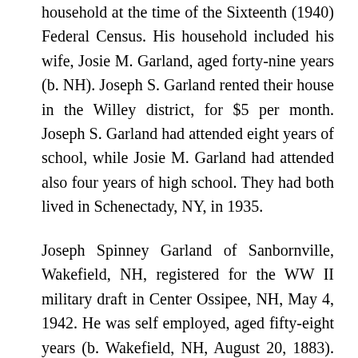household at the time of the Sixteenth (1940) Federal Census. His household included his wife, Josie M. Garland, aged forty-nine years (b. NH). Joseph S. Garland rented their house in the Willey district, for $5 per month. Joseph S. Garland had attended eight years of school, while Josie M. Garland had attended also four years of high school. They had both lived in Schenectady, NY, in 1935.
Joseph Spinney Garland of Sanbornville, Wakefield, NH, registered for the WW II military draft in Center Ossipee, NH, May 4, 1942. He was self employed, aged fifty-eight years (b. Wakefield, NH, August 20, 1883). His nearest relative was his wife, Mrs. Josie M.